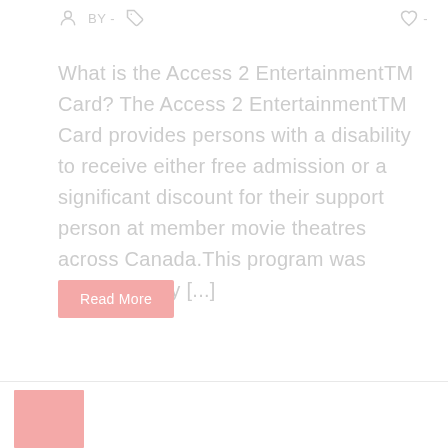BY -
What is the Access 2 EntertainmentTM Card? The Access 2 EntertainmentTM Card provides persons with a disability to receive either free admission or a significant discount for their support person at member movie theatres across Canada.This program was developed by [...]
Read More